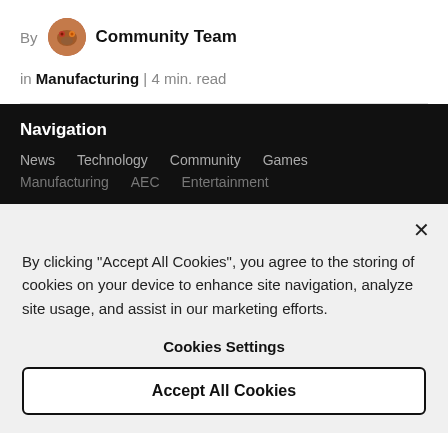By Community Team
in Manufacturing | 4 min. read
Navigation
News  Technology  Community  Games
Manufacturing  AEC  Entertainment
By clicking "Accept All Cookies", you agree to the storing of cookies on your device to enhance site navigation, analyze site usage, and assist in our marketing efforts.
Cookies Settings
Accept All Cookies